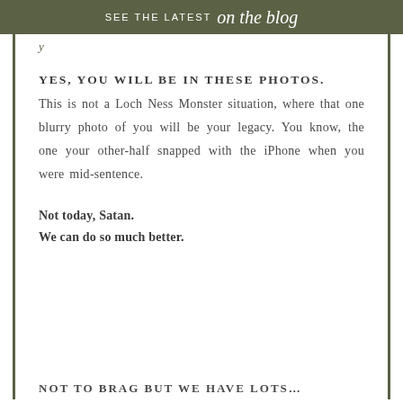SEE THE LATEST on the blog
YES, YOU WILL BE IN THESE PHOTOS.
This is not a Loch Ness Monster situation, where that one blurry photo of you will be your legacy. You know, the one your other-half snapped with the iPhone when you were mid-sentence.
Not today, Satan.
We can do so much better.
NOT TO BRAG BUT WE HAVE LOTS…